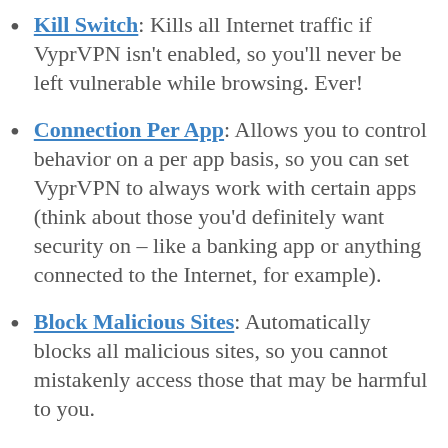Kill Switch: Kills all Internet traffic if VyprVPN isn't enabled, so you'll never be left vulnerable while browsing. Ever!
Connection Per App: Allows you to control behavior on a per app basis, so you can set VyprVPN to always work with certain apps (think about those you'd definitely want security on – like a banking app or anything connected to the Internet, for example).
Block Malicious Sites: Automatically blocks all malicious sites, so you cannot mistakenly access those that may be harmful to you.